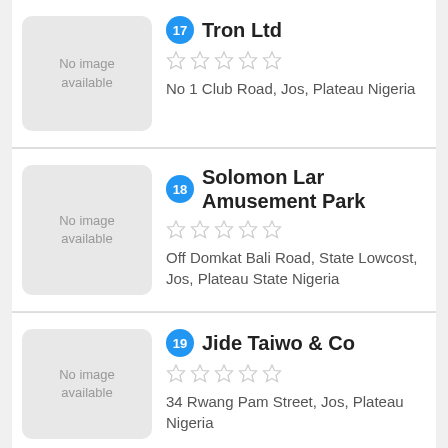17 Tron Ltd — No image available — No 1 Club Road, Jos, Plateau Nigeria
18 Solomon Lar Amusement Park — No image available — Off Domkat Bali Road, State Lowcost, Jos, Plateau State Nigeria
19 Jide Taiwo & Co — No image available — 34 Rwang Pam Street, Jos, Plateau Nigeria